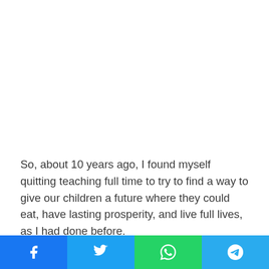So, about 10 years ago, I found myself quitting teaching full time to try to find a way to give our children a future where they could eat, have lasting prosperity, and live full lives, as I had done before.
I never thought that this would expose me to arrest, fines and
Social share bar: Facebook, Twitter, WhatsApp, Telegram